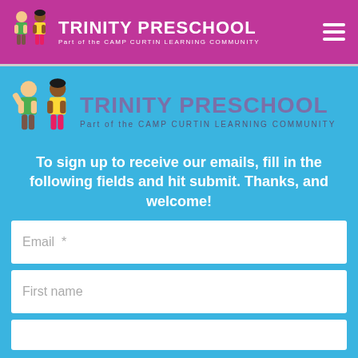[Figure (logo): Trinity Preschool logo with two cartoon children figures and text 'TRINITY PRESCHOOL Part of the CAMP CURTIN LEARNING COMMUNITY' on a pink/magenta header bar]
[Figure (logo): Trinity Preschool logo with two cartoon children figures and text 'TRINITY PRESCHOOL Part of the CAMP CURTIN LEARNING COMMUNITY' on blue background, larger version]
To sign up to receive our emails, fill in the following fields and hit submit. Thanks, and welcome!
Email  *
First name
Last name (partial visible)